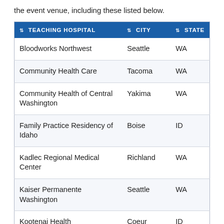the event venue, including these listed below.
| TEACHING HOSPITAL | CITY | STATE |
| --- | --- | --- |
| Bloodworks Northwest | Seattle | WA |
| Community Health Care | Tacoma | WA |
| Community Health of Central Washington | Yakima | WA |
| Family Practice Residency of Idaho | Boise | ID |
| Kadlec Regional Medical Center | Richland | WA |
| Kaiser Permanente Washington | Seattle | WA |
| Kootenai Health | Coeur d'Alene | ID |
| Madigan Healthcare System | Tacoma | WA |